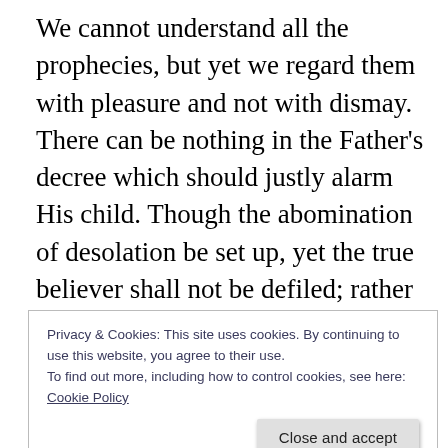We cannot understand all the prophecies, but yet we regard them with pleasure and not with dismay. There can be nothing in the Father's decree which should justly alarm His child. Though the abomination of desolation be set up, yet the true believer shall not be defiled; rather shall he be purified, and made white, and tried. Though the earth be burned up, no smell of fire shall come upon the chosen. Amid the crash of matter and the wreck of worlds, the Lord Jehovah will preserve His own.
Calmly resolute in duty, brave in conflict, patient in
Privacy & Cookies: This site uses cookies. By continuing to use this website, you agree to their use.
To find out more, including how to control cookies, see here: Cookie Policy
Close and accept
foundation standeth sure. God rests in His love, and,